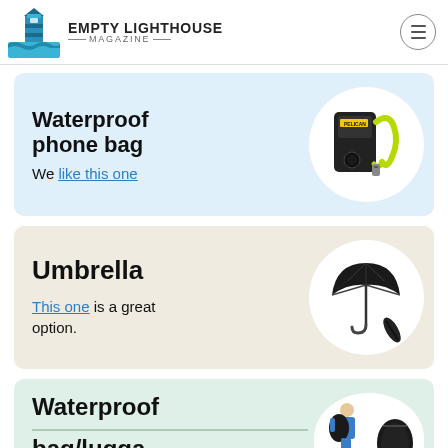Empty Lighthouse Magazine
Waterproof phone bag
We like this one
[Figure (photo): A black waterproof phone bag with a bright yellow-green lanyard/strap]
Umbrella
This one is a great option.
[Figure (photo): A compact black folding umbrella, shown open and closed]
Waterproof bag/luggage